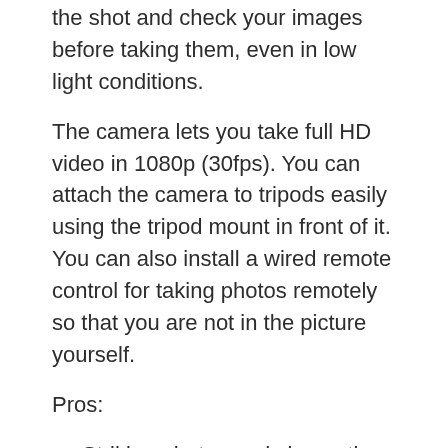the shot and check your images before taking them, even in low light conditions.
The camera lets you take full HD video in 1080p (30fps). You can attach the camera to tripods easily using the tripod mount in front of it. You can also install a wired remote control for taking photos remotely so that you are not in the picture yourself.
Pros:
Striking photos and cinematic movies
Creative Auto mode
6.8 cm LCD screen